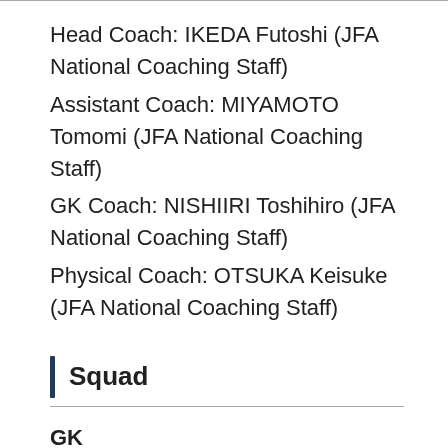Head Coach: IKEDA Futoshi (JFA National Coaching Staff)
Assistant Coach: MIYAMOTO Tomomi (JFA National Coaching Staff)
GK Coach: NISHIIRI Toshihiro (JFA National Coaching Staff)
Physical Coach: OTSUKA Keisuke (JFA National Coaching Staff)
Squad
GK
ISHIDA Kokona (Waseda University)